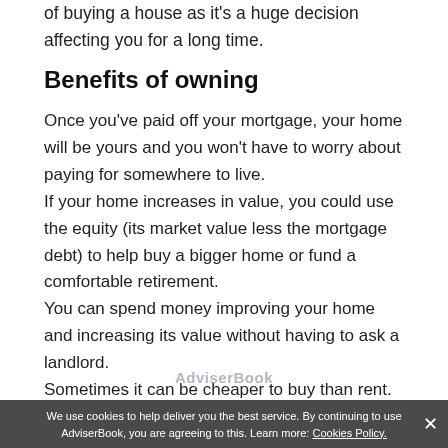of buying a house as it's a huge decision affecting you for a long time.
Benefits of owning
Once you've paid off your mortgage, your home will be yours and you won't have to worry about paying for somewhere to live.
If your home increases in value, you could use the equity (its market value less the mortgage debt) to help buy a bigger home or fund a comfortable retirement.
You can spend money improving your home and increasing its value without having to ask a landlord.
Sometimes it can be cheaper to buy than rent.
We use cookies to help deliver you the best service. By continuing to use AdviserBook, you are agreeing to this. Learn more: Cookies Policy.